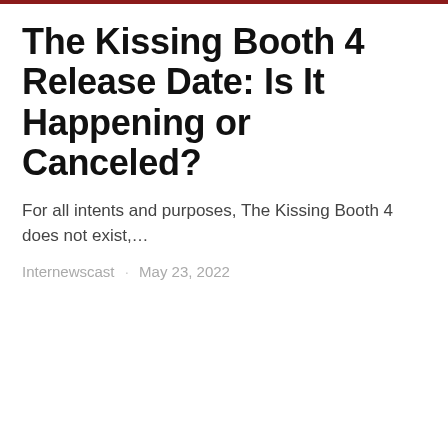The Kissing Booth 4 Release Date: Is It Happening or Canceled?
For all intents and purposes, The Kissing Booth 4 does not exist,…
Internewscast · May 23, 2022
[Figure (photo): Photo of two people, partially cropped at the bottom of the page. A man in a dark suit and light blue shirt on the left, a woman on the right.]